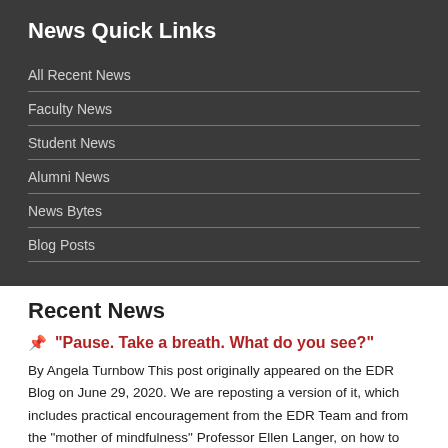News Quick Links
All Recent News
Faculty News
Student News
Alumni News
News Bytes
Blog Posts
Recent News
“Pause. Take a breath. What do you see?”
By Angela Turnbow This post originally appeared on the EDR Blog on June 29, 2020. We are reposting a version of it, which includes practical encouragement from the EDR Team and from the “mother of mindfulness” Professor Ellen Langer, on how to get present and be here now—to be aware and intentional in our lives. […]